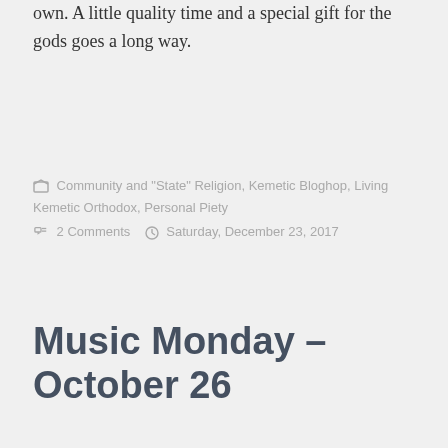own. A little quality time and a special gift for the gods goes a long way.
Community and "State" Religion, Kemetic Bloghop, Living Kemetic Orthodox, Personal Piety
2 Comments · Saturday, December 23, 2017
Music Monday – October 26